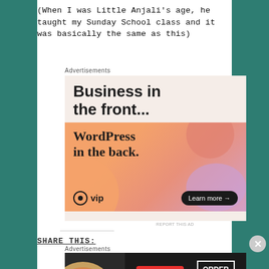(When I was Little Anjali's age, he taught my Sunday School class and it was basically the same as this)
[Figure (screenshot): WordPress VIP advertisement: 'Business in the front... WordPress in the back.' with a Learn more button, on a peach/orange gradient background.]
SHARE THIS:
[Figure (screenshot): Seamless food delivery advertisement showing pizza slices with 'seamless' badge and 'ORDER NOW' button on dark background.]